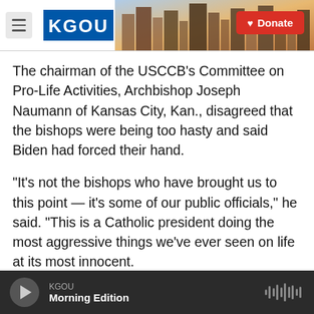KGOU - header with logo, menu, and donate button
The chairman of the USCCB's Committee on Pro-Life Activities, Archbishop Joseph Naumann of Kansas City, Kan., disagreed that the bishops were being too hasty and said Biden had forced their hand.
"It's not the bishops who have brought us to this point — it's some of our public officials," he said. "This is a Catholic president doing the most aggressive things we've ever seen on life at its most innocent.
San Francisco Archbishop Salvatore Cordileone
KGOU — Morning Edition (player bar)